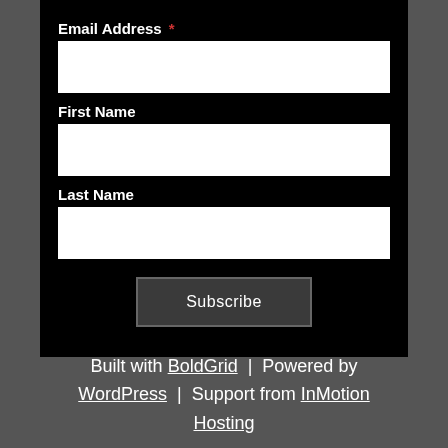Email Address *
First Name
Last Name
Subscribe
Built with BoldGrid | Powered by WordPress | Support from InMotion Hosting